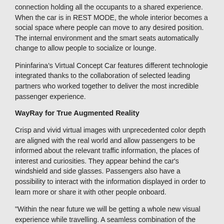connection holding all the occupants to a shared experience. When the car is in REST MODE, the whole interior becomes a social space where people can move to any desired position. The internal environment and the smart seats automatically change to allow people to socialize or lounge.
Pininfarina's Virtual Concept Car features different technologie integrated thanks to the collaboration of selected leading partners who worked together to deliver the most incredible passenger experience.
WayRay for True Augmented Reality
Crisp and vivid virtual images with unprecedented color depth are aligned with the real world and allow passengers to be informed about the relevant traffic information, the places of interest and curiosities. They appear behind the car's windshield and side glasses. Passengers also have a possibility to interact with the information displayed in order to learn more or share it with other people onboard.
"Within the near future we will be getting a whole new visual experience while travelling. A seamless combination of the virtual and the real elements will provide an edifying...